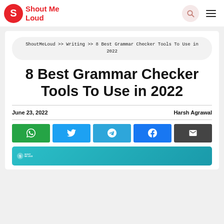ShoutMeLoud
ShoutMeLoud >> Writing >> 8 Best Grammar Checker Tools To Use in 2022
8 Best Grammar Checker Tools To Use in 2022
June 23, 2022    Harsh Agrawal
[Figure (screenshot): Social share buttons: WhatsApp, Twitter, Telegram, Facebook, Email]
[Figure (screenshot): Teal colored box with ShoutMeLoud logo at the bottom]